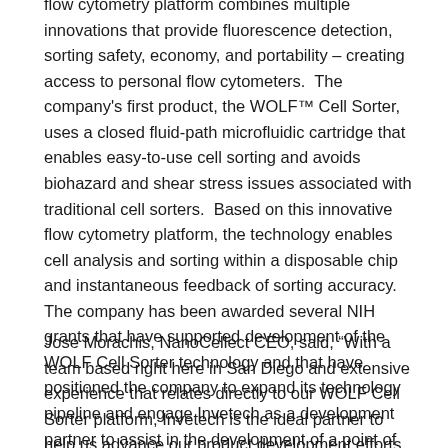flow cytometry platform combines multiple innovations that provide fluorescence detection, sorting safety, economy, and portability – creating access to personal flow cytometers. The company's first product, the WOLF™ Cell Sorter, uses a closed fluid-path microfluidic cartridge that enables easy-to-use cell sorting and avoids biohazard and shear stress issues associated with traditional cell sorters. Based on this innovative flow cytometry platform, the technology enables cell analysis and sorting within a disposable chip and instantaneous feedback of sorting accuracy. The company has been awarded several NIH grants that have supported development of the WOLF Cell Sorter technology and that have positioned the company to expand its technology pipeline and engage Invetech as a development partner to assist in the development of a point of care (POC) cancer diagnostics platform.
Jose Morachis, NanoCellect CEO, said, “With a team based right here in San Diego and extensive experience that relates directly to our WOLF Cell Sorter platform, Invetech is the ideal partner to help us advance our product development efforts moving forward. Their expertise in both development strategy and production will ensure seamless integration to help us achieve our aggressive goals in both